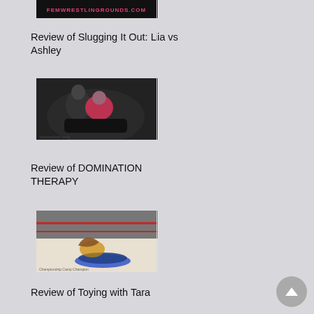[Figure (photo): Partial top image showing femwrestlingrounds.com banner/logo in pink/red text on dark background]
Review of Slugging It Out: Lia vs Ashley
[Figure (photo): Two women wrestling, one in red/pink top, dark background]
Review of DOMINATION THERAPY
[Figure (photo): Two women in a wrestling ring, one pinning the other, red ropes visible]
Review of Toying with Tara